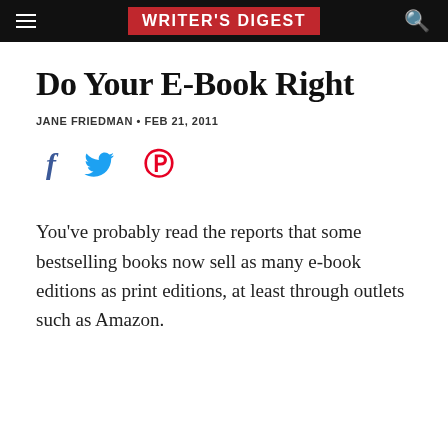WRITER'S DIGEST
Do Your E-Book Right
JANE FRIEDMAN • FEB 21, 2011
[Figure (infographic): Social media share icons: Facebook (f), Twitter (bird), Pinterest (p)]
You've probably read the reports that some bestselling books now sell as many e-book editions as print editions, at least through outlets such as Amazon.